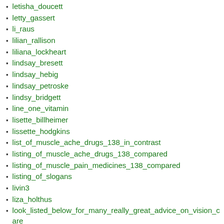letisha_doucett
letty_gassert
li_raus
lilian_rallison
liliana_lockheart
lindsay_bresett
lindsay_hebig
lindsay_petroske
lindsy_bridgett
line_one_vitamin
lisette_billheimer
lissette_hodgkins
list_of_muscle_ache_drugs_138_in_contrast
listing_of_muscle_ache_drugs_138_compared
listing_of_muscle_pain_medicines_138_compared
listing_of_slogans
livin3
liza_holthus
look_listed_below_for_many_really_great_advice_on_vision_care
look_your_very_best_with_these_simple_beauty_tips